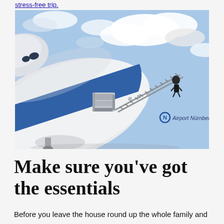stress-free trip.
[Figure (photo): Close-up photo of a large white airplane with a blue stripe, jet bridge attached, and stairs going up the side marked 'Airport Nürnberg', with a blue sky and clouds in the background.]
Make sure you've got the essentials
Before you leave the house round up the whole family and